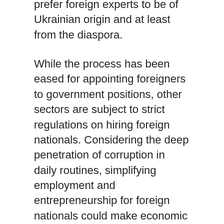prefer foreign experts to be of Ukrainian origin and at least from the diaspora.
While the process has been eased for appointing foreigners to government positions, other sectors are subject to strict regulations on hiring foreign nationals. Considering the deep penetration of corruption in daily routines, simplifying employment and entrepreneurship for foreign nationals could make economic sense.
Ukraine is notorious for cumbersome procedures for foreigners either seeking a work visa or as permanent residents, typically through a Ukraine-born spouse, seeking legal employment. Social networking sites maintained by the expats include personal tips on legal loopholes, bribery networks and lawyer referrals. For example, a native English speaker with a master's degree from an accredited